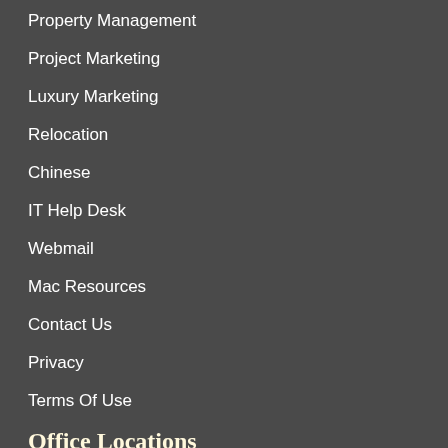Property Management
Project Marketing
Luxury Marketing
Relocation
Chinese
IT Help Desk
Webmail
Mac Resources
Contact Us
Privacy
Terms Of Use
Office Locations